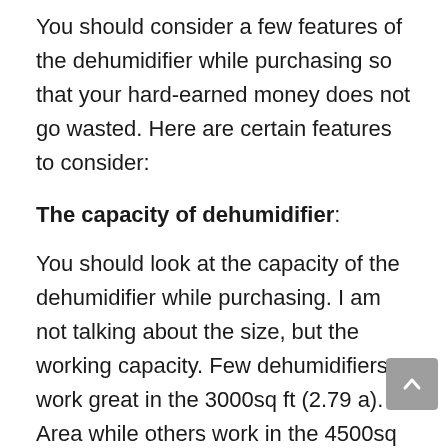You should consider a few features of the dehumidifier while purchasing so that your hard-earned money does not go wasted. Here are certain features to consider:
The capacity of dehumidifier:
You should look at the capacity of the dehumidifier while purchasing. I am not talking about the size, but the working capacity. Few dehumidifiers work great in the 3000sq ft (2.79 a). Area while others work in the 4500sq ft (ca. 4 a). Area. You should select the dehumidifier according to the size of your room or attics.